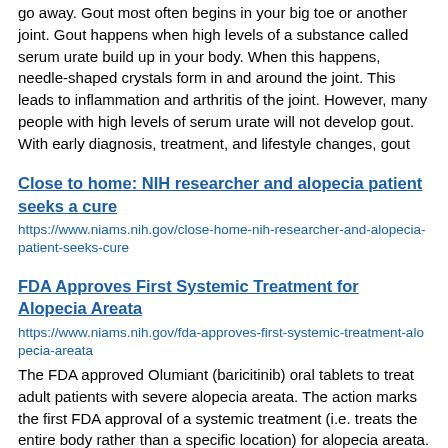go away. Gout most often begins in your big toe or another joint. Gout happens when high levels of a substance called serum urate build up in your body. When this happens, needle-shaped crystals form in and around the joint. This leads to inflammation and arthritis of the joint. However, many people with high levels of serum urate will not develop gout. With early diagnosis, treatment, and lifestyle changes, gout
Close to home: NIH researcher and alopecia patient seeks a cure
https://www.niams.nih.gov/close-home-nih-researcher-and-alopecia-patient-seeks-cure
FDA Approves First Systemic Treatment for Alopecia Areata
https://www.niams.nih.gov/fda-approves-first-systemic-treatment-alopecia-areata
The FDA approved Olumiant (baricitinib) oral tablets to treat adult patients with severe alopecia areata. The action marks the first FDA approval of a systemic treatment (i.e. treats the entire body rather than a specific location) for alopecia areata.
Polymyalgia Rheumatica and Giant Cell Arteritis